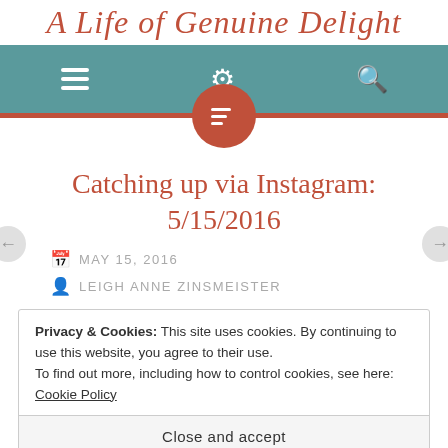A Life of Genuine Delight
[Figure (screenshot): Navigation bar with hamburger menu icon, gear/settings icon, and search icon on teal background with rust-colored bottom border. A rust-colored circle widget with a text/widget icon hangs below the nav bar center.]
Catching up via Instagram: 5/15/2016
MAY 15, 2016
LEIGH ANNE ZINSMEISTER
Privacy & Cookies: This site uses cookies. By continuing to use this website, you agree to their use.
To find out more, including how to control cookies, see here: Cookie Policy
Close and accept